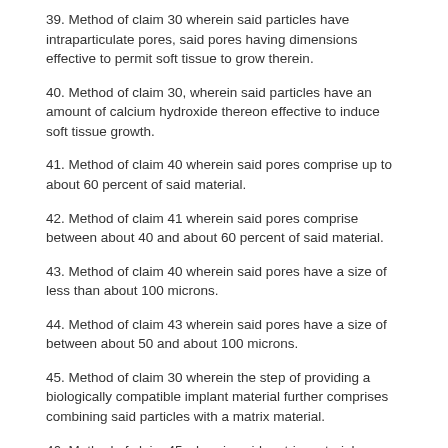39. Method of claim 30 wherein said particles have intraparticulate pores, said pores having dimensions effective to permit soft tissue to grow therein.
40. Method of claim 30, wherein said particles have an amount of calcium hydroxide thereon effective to induce soft tissue growth.
41. Method of claim 40 wherein said pores comprise up to about 60 percent of said material.
42. Method of claim 41 wherein said pores comprise between about 40 and about 60 percent of said material.
43. Method of claim 40 wherein said pores have a size of less than about 100 microns.
44. Method of claim 43 wherein said pores have a size of between about 50 and about 100 microns.
45. Method of claim 30 wherein the step of providing a biologically compatible implant material further comprises combining said particles with a matrix material.
46. Method of claim 45 wherein said matrix material comprises a volume of